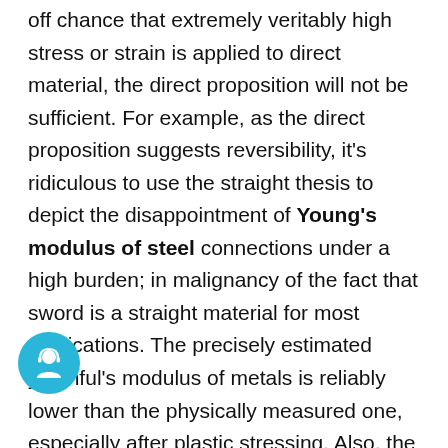off chance that extremely veritably high stress or strain is applied to direct material, the direct proposition will not be sufficient. For example, as the direct proposition suggests reversibility, it's ridiculous to use the straight thesis to depict the disappointment of Young's modulus of steel connections under a high burden; in malignancy of the fact that sword is a straight material for most applications. The precisely estimated youthful's modulus of metals is reliably lower than the physically measured one, especially after plastic stressing. Also, the negligibly elastic lading and loading behavior aren't direct; it shows nificant curvature and hysteresis. While multitudinous reports of this alleged modulus
[Figure (illustration): Chat support icon: a teal/cyan circular button with a customer service agent avatar (headset icon)]